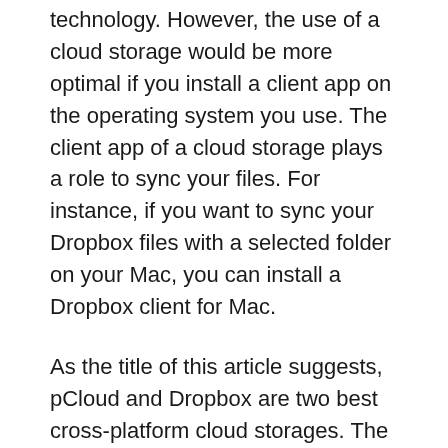technology. However, the use of a cloud storage would be more optimal if you install a client app on the operating system you use. The client app of a cloud storage plays a role to sync your files. For instance, if you want to sync your Dropbox files with a selected folder on your Mac, you can install a Dropbox client for Mac.
As the title of this article suggests, pCloud and Dropbox are two best cross-platform cloud storages. The two provides client app for major platforms be it desktop or mobile. Both pCloud and Dropbox provide client app for Windows, macOS, Linux, iOS